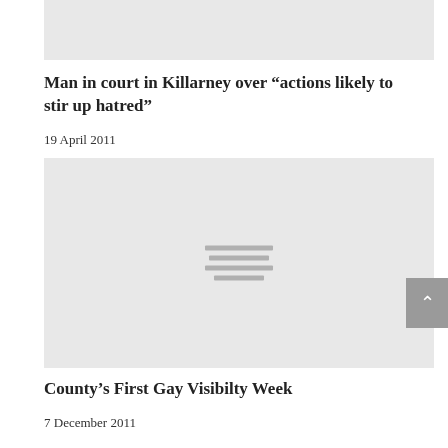[Figure (photo): Gray placeholder image at top of page]
Man in court in Killarney over “actions likely to stir up hatred”
19 April 2011
[Figure (photo): Gray placeholder image with document/list icon in center]
County’s First Gay Visibilty Week
7 December 2011